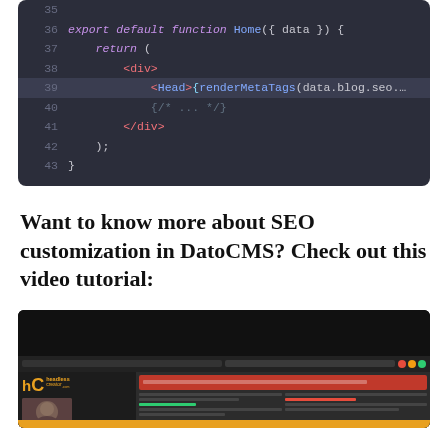[Figure (screenshot): Code editor screenshot showing lines 35-43 of a JavaScript/JSX file with syntax highlighting. Line 39 is highlighted. Code shows: export default function Home({ data }) { return ( <div> <Head>{renderMetaTags(data.blog.seo. {/* ... */} </div> ); }]
Want to know more about SEO customization in DatoCMS? Check out this video tutorial:
[Figure (screenshot): Thumbnail of a video tutorial by Headless Creator showing DatoCMS SEO customization interface with a red toolbar, content panels, and speaker avatar in lower left.]